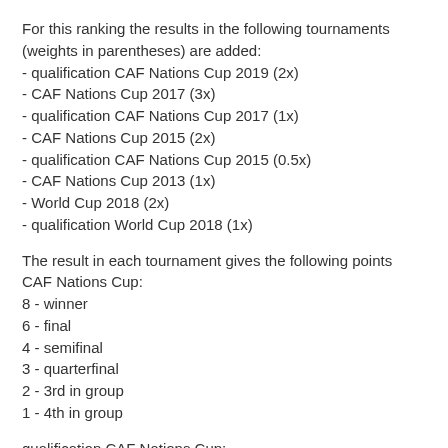For this ranking the results in the following tournaments (weights in parentheses) are added:
- qualification CAF Nations Cup 2019 (2x)
- CAF Nations Cup 2017 (3x)
- qualification CAF Nations Cup 2017 (1x)
- CAF Nations Cup 2015 (2x)
- qualification CAF Nations Cup 2015 (0.5x)
- CAF Nations Cup 2013 (1x)
- World Cup 2018 (2x)
- qualification World Cup 2018 (1x)
The result in each tournament gives the following points CAF Nations Cup:
8 - winner
6 - final
4 - semifinal
3 - quarterfinal
2 - 3rd in group
1 - 4th in group
qualification CAF Nations Cup: